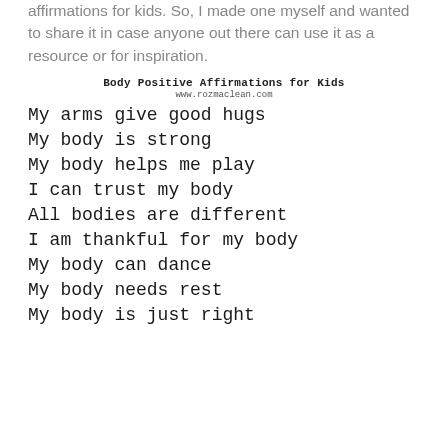affirmations for kids. So, I made one myself and wanted to share it in case anyone out there can use it as a resource or for inspiration.
Body Positive Affirmations for Kids
www.rozmaclean.com
My arms give good hugs
My body is strong
My body helps me play
I can trust my body
All bodies are different
I am thankful for my body
My body can dance
My body needs rest
My body is just right